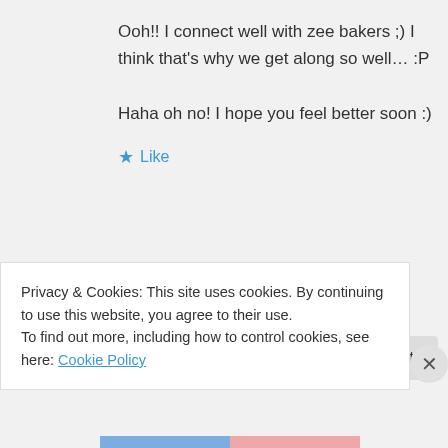Ooh!! I connect well with zee bakers ;) I think that's why we get along so well… :P

Haha oh no! I hope you feel better soon :)
★ Like
maedez on January 11, 2013 at 4:18 pm
Privacy & Cookies: This site uses cookies. By continuing to use this website, you agree to their use.
To find out more, including how to control cookies, see here: Cookie Policy
Close and accept